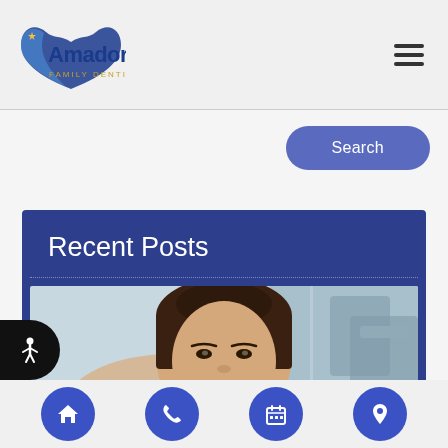Amador Family Dentistry
Search
Recent Posts
[Figure (photo): A smiling young woman in a dental chair, looking upward, in a dental clinic setting.]